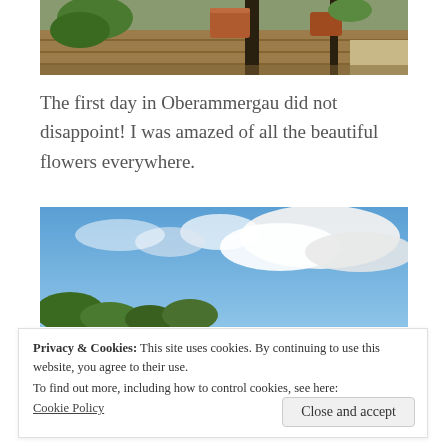[Figure (photo): Top portion of a photo showing potted plants on a wooden deck or porch with outdoor scenery]
The first day in Oberammergau did not disappoint! I was amazed of all the beautiful flowers everywhere.
[Figure (photo): Photo showing a blue sky with white clouds, with tree tops visible at the bottom]
Privacy & Cookies: This site uses cookies. By continuing to use this website, you agree to their use.
To find out more, including how to control cookies, see here:
Cookie Policy
Close and accept
[Figure (photo): Bottom partial photo showing outdoor scenery with greenery]